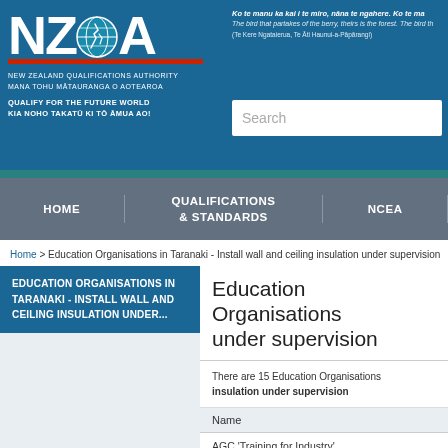[Figure (logo): NZQA logo with globe icon, New Zealand Qualifications Authority text and taglines]
Ko te manu ka kai i te miro, nāna te ngahere. Ko te ma... The bird that partakes of the berry, theirs is the forest. The bird th... (Te Kere Ngataierua, Te Āti Haunui-a-Pāpārangi)
HOME | QUALIFICATIONS & STANDARDS | NCEA
Home > Education Organisations in Taranaki - Install wall and ceiling insulation under supervision
EDUCATION ORGANISATIONS IN TARANAKI - INSTALL WALL AND CEILING INSULATION UNDER...
Education Organisations in Taranaki - Install wall and ceiling insulation under supervision
There are 15 Education Organisations in Taranaki that can provide training in Install wall and ceiling insulation under supervision
| Name |
| --- |
| AGC 'Training for Industry' |
| Alpha Training and Development Centre |
| Eastern Institute of Technology Ltd |